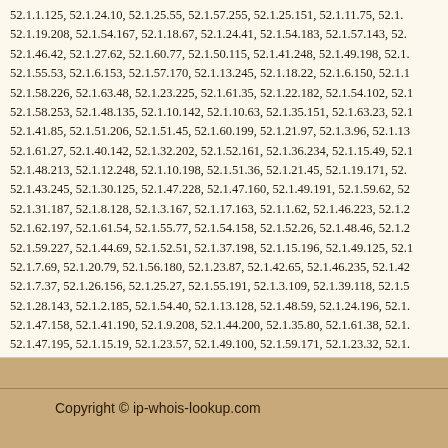52.1.1.125, 52.1.24.10, 52.1.25.55, 52.1.57.255, 52.1.25.151, 52.1.11.75, 52.1.19.208, 52.1.54.167, 52.1.18.67, 52.1.24.41, 52.1.54.183, 52.1.57.143, 52.1.46.42, 52.1.27.62, 52.1.60.77, 52.1.50.115, 52.1.41.248, 52.1.49.198, 52.1.55.53, 52.1.6.153, 52.1.57.170, 52.1.13.245, 52.1.18.22, 52.1.6.150, 52.1.58.226, 52.1.63.48, 52.1.23.225, 52.1.61.35, 52.1.22.182, 52.1.54.102, 52.1.58.253, 52.1.48.135, 52.1.10.142, 52.1.10.63, 52.1.35.151, 52.1.63.23, 52.1.41.85, 52.1.51.206, 52.1.51.45, 52.1.60.199, 52.1.21.97, 52.1.3.96, 52.1.13, 52.1.61.27, 52.1.40.142, 52.1.32.202, 52.1.52.161, 52.1.36.234, 52.1.15.49, 52.1.48.213, 52.1.12.248, 52.1.10.198, 52.1.51.36, 52.1.21.45, 52.1.19.171, 52.1.43.245, 52.1.30.125, 52.1.47.228, 52.1.47.160, 52.1.49.191, 52.1.59.62, 52.1.31.187, 52.1.8.128, 52.1.3.167, 52.1.17.163, 52.1.1.62, 52.1.46.223, 52.1.62.197, 52.1.61.54, 52.1.55.77, 52.1.54.158, 52.1.52.26, 52.1.48.46, 52.1.59.227, 52.1.44.69, 52.1.52.51, 52.1.37.198, 52.1.15.196, 52.1.49.125, 52.1.7.69, 52.1.20.79, 52.1.56.180, 52.1.23.87, 52.1.42.65, 52.1.46.235, 52.1.42, 52.1.7.37, 52.1.26.156, 52.1.25.27, 52.1.55.191, 52.1.3.109, 52.1.39.118, 52.1.5, 52.1.28.143, 52.1.2.185, 52.1.54.40, 52.1.13.128, 52.1.48.59, 52.1.24.196, 52.1.47.158, 52.1.41.190, 52.1.9.208, 52.1.44.200, 52.1.35.80, 52.1.61.38, 52.1.47.195, 52.1.15.19, 52.1.23.57, 52.1.49.100, 52.1.59.171, 52.1.23.32, 52.1.31.192, 52.1.15.23, 52.1.18.55, 52.1.29.115, 52.1.25.102, 52.1.54.68, 52.1.11.70, 52.1.2.217, 52.1.6.115, 52.1.12.108, 52.1.10.170, 52.1.37.131, 52.1.22.29, 52.1.62.65, 52.1.19.55, 52.1.0.26, 52.1.8.228, 52.1.21.243, 52.1.7.16, 52.1.2.79, 52.1.53.152, 52.1.27.209, 52.1.6.237, 52.1.58.123, 52.1.44.42, 52.1.6, 52.1.62.206, 52.1.56.33, 52.1.32.217, 52.1.57.163, 52.1.21.221, 52.1.23.171, 52.1.22.12, 52.1.53.119,
Copyright © ip-whois-lookup.com